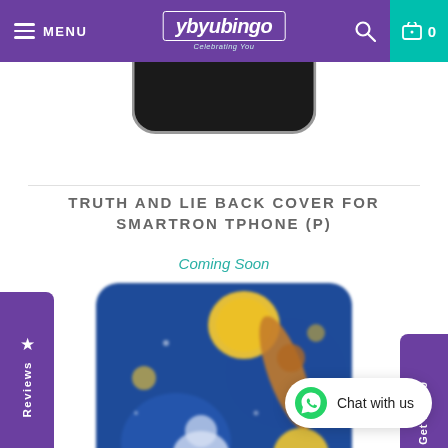MENU | yb yubingo | [search] | cart 0
[Figure (photo): Partial view of a smartphone bottom, dark screen, rounded bottom corners, grey border]
TRUTH AND LIE BACK COVER FOR SMARTRON TPHONE (P)
Coming Soon
[Figure (photo): Blurred phone back cover with artistic design on blue background featuring yellow circles, brown figure, white shape — Truth and Lie design]
Chat with us